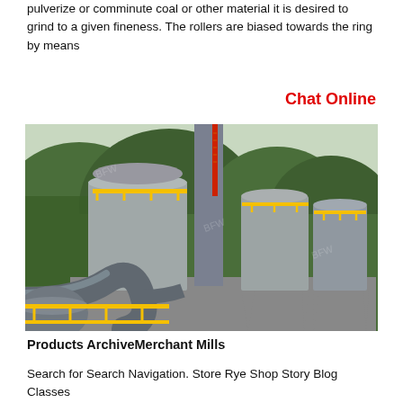pulverize or comminute coal or other material it is desired to grind to a given fineness. The rollers are biased towards the ring by means
Chat Online
[Figure (photo): Industrial facility showing large gray cylindrical silos and tanks with yellow safety railings, large gray pipes in the foreground, and green tree-covered hills in the background.]
Products ArchiveMerchant Mills
Search for Search Navigation. Store Rye Shop Story Blog Classes